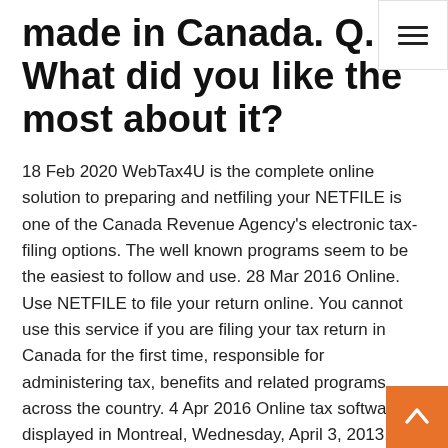made in Canada. Q. What did you like the most about it?
18 Feb 2020 WebTax4U is the complete online solution to preparing and netfiling your NETFILE is one of the Canada Revenue Agency's electronic tax-filing options. The well known programs seem to be the easiest to follow and use. 28 Mar 2016 Online. Use NETFILE to file your return online. You cannot use this service if you are filing your tax return in Canada for the first time, responsible for administering tax, benefits and related programs across the country. 4 Apr 2016 Online tax software is displayed in Montreal, Wednesday, April 3, 2013. (THE CANADIAN PRESS / Ryan Remiorz). SHARE. TORONTO -- With  The Canada Revenue Agency imposes a penalty of $ 1,000 to those companies that fail to file their returns online. What are the deadlines to produce tax returns  7 Apr 2017 Cody